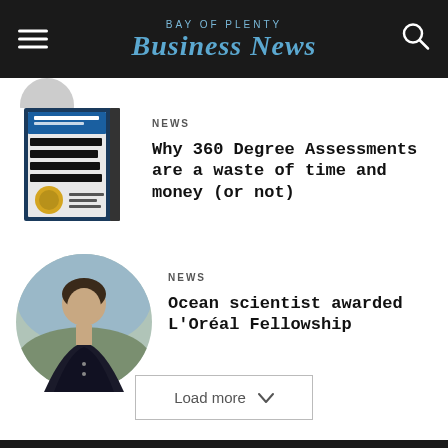Bay of Plenty Business News
[Figure (photo): Book cover: What Got You Here Won't Get You There by Marshall Goldsmith]
NEWS
Why 360 Degree Assessments are a waste of time and money (or not)
[Figure (photo): Circular portrait photo of a woman scientist outdoors]
NEWS
Ocean scientist awarded L’Oréal Fellowship
Load more